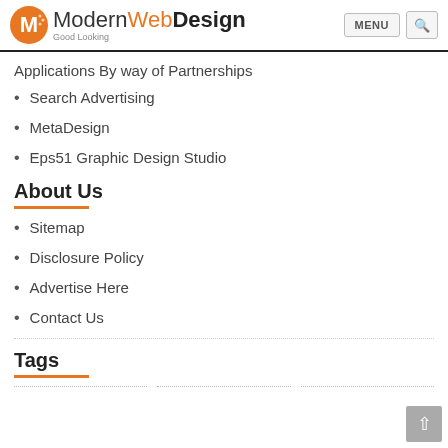ModernWebDesign Good Looking | MENU | Search
Applications By way of Partnerships
Search Advertising
MetaDesign
Eps51 Graphic Design Studio
About Us
Sitemap
Disclosure Policy
Advertise Here
Contact Us
Tags